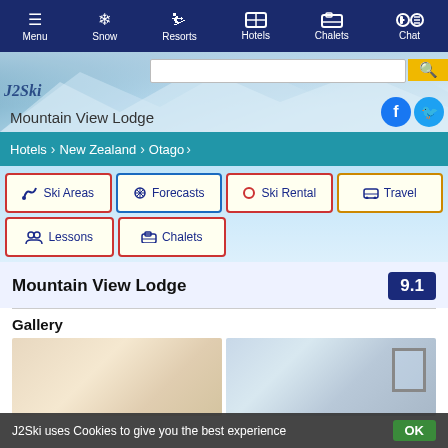Menu | Snow | Resorts | Hotels | Chalets | Chat
[Figure (screenshot): Hero banner with mountain/snow background, J2Ski logo, search bar, Mountain View Lodge title, Facebook and Twitter social icons]
Hotels > New Zealand > Otago
Ski Areas
Forecasts
Ski Rental
Travel
Lessons
Chalets
Mountain View Lodge
9.1
Gallery
[Figure (photo): Two hotel room photos side by side — left shows a light-colored interior wall/bath, right shows a window with snowy view]
J2Ski uses Cookies to give you the best experience
OK